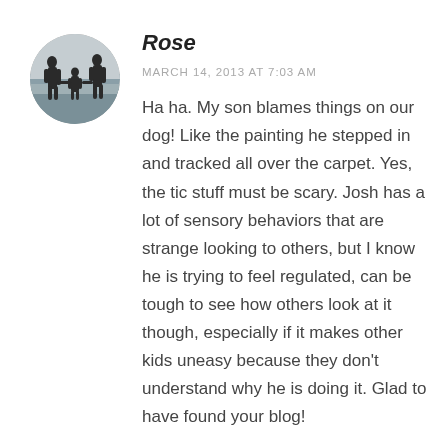[Figure (photo): Circular avatar photo showing silhouettes of people (appears to be adults and a child) on a beach or shoreline at dusk/dawn]
Rose
MARCH 14, 2013 AT 7:03 AM
Ha ha. My son blames things on our dog! Like the painting he stepped in and tracked all over the carpet. Yes, the tic stuff must be scary. Josh has a lot of sensory behaviors that are strange looking to others, but I know he is trying to feel regulated, can be tough to see how others look at it though, especially if it makes other kids uneasy because they don't understand why he is doing it. Glad to have found your blog!